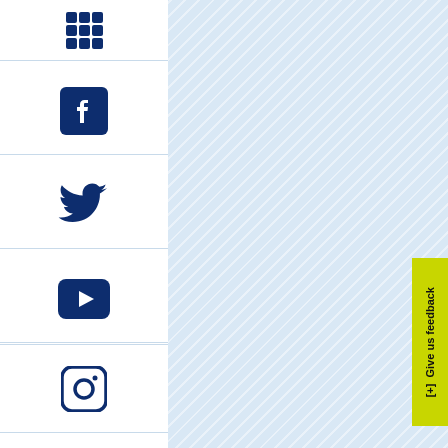[Figure (screenshot): A webpage screenshot showing a vertical left sidebar with social media and communication icons on a white background. Icons from top to bottom: grid/apps icon, Facebook icon, Twitter bird icon, YouTube play button icon, Instagram icon, chat/message icon, speech bubble with dots icon. The main content area has a light blue diagonal stripe background. A yellow-green feedback tab is fixed on the right edge reading '[+] Give us feedback'.]